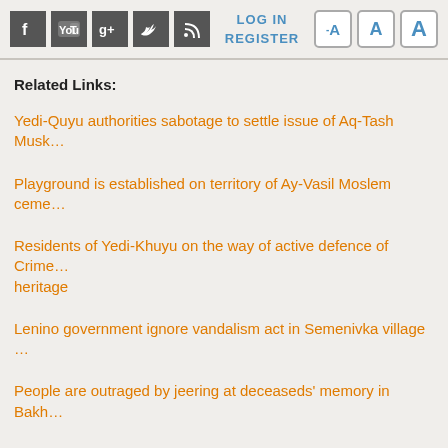Social icons: Facebook, YouTube, Google+, Twitter, RSS | LOG IN | REGISTER | Font size buttons
Related Links:
Yedi-Quyu authorities sabotage to settle issue of Aq-Tash Mush...
Playground is established on territory of Ay-Vasil Moslem ceme...
Residents of Yedi-Khuyu on the way of active defence of Crime... heritage
Lenino government ignore vandalism act in Semenivka village
People are outraged by jeering at deceaseds' memory in Bakh...
OIC Appeared for Defense of Islamic Holy Places on the Crime...